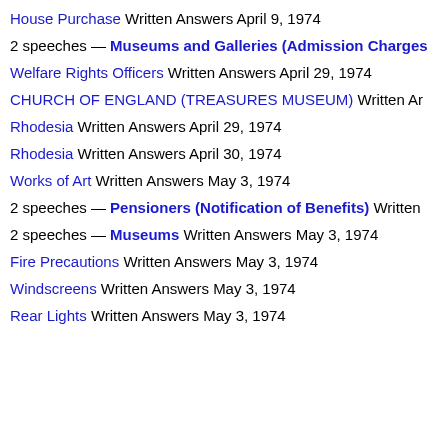House Purchase Written Answers April 9, 1974
2 speeches — Museums and Galleries (Admission Charges
Welfare Rights Officers Written Answers April 29, 1974
CHURCH OF ENGLAND (TREASURES MUSEUM) Written Ar
Rhodesia Written Answers April 29, 1974
Rhodesia Written Answers April 30, 1974
Works of Art Written Answers May 3, 1974
2 speeches — Pensioners (Notification of Benefits) Written
2 speeches — Museums Written Answers May 3, 1974
Fire Precautions Written Answers May 3, 1974
Windscreens Written Answers May 3, 1974
Rear Lights Written Answers May 3, 1974